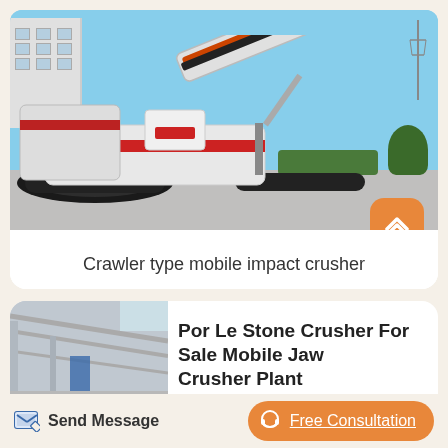[Figure (photo): Crawler type mobile impact crusher machine on a paved surface with buildings and trees in background]
Crawler type mobile impact crusher
[Figure (photo): Interior of industrial warehouse/facility, partially visible in thumbnail]
Por Le Stone Crusher For Sale Mobile Jaw Crusher Plant
Send Message
Free Consultation